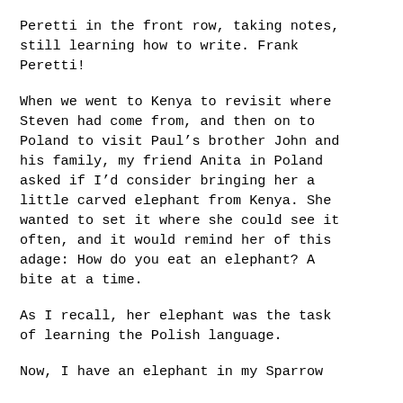Peretti in the front row, taking notes, still learning how to write. Frank Peretti!
When we went to Kenya to revisit where Steven had come from, and then on to Poland to visit Paul’s brother John and his family, my friend Anita in Poland asked if I’d consider bringing her a little carved elephant from Kenya. She wanted to set it where she could see it often, and it would remind her of this adage: How do you eat an elephant? A bite at a time.
As I recall, her elephant was the task of learning the Polish language.
Now, I have an elephant in my Sparrow